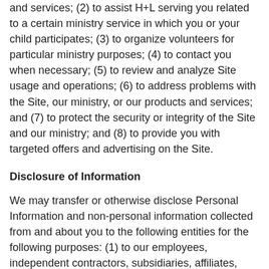and services; (2) to assist H+L serving you related to a certain ministry service in which you or your child participates; (3) to organize volunteers for particular ministry purposes; (4) to contact you when necessary; (5) to review and analyze Site usage and operations; (6) to address problems with the Site, our ministry, or our products and services; and (7) to protect the security or integrity of the Site and our ministry; and (8) to provide you with targeted offers and advertising on the Site.
Disclosure of Information
We may transfer or otherwise disclose Personal Information and non-personal information collected from and about you to the following entities for the following purposes: (1) to our employees, independent contractors, subsidiaries, affiliates, consultants, ministry partners, service providers and suppliers, if the disclosure will enable any of these entities to perform a business, professional, fulfillment, marketing, information